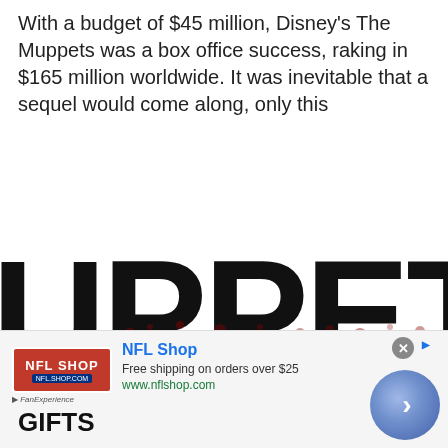With a budget of $45 million, Disney's The Muppets was a box office success, raking in $165 million worldwide. It was inevitable that a sequel would come along, only this
[Figure (illustration): Muppets Most Wanted movie title card showing large black letters 'UPPET' and red stamp-style text 'MOST WANTED' with splatter effect]
[Figure (illustration): Advertisement bar: NFL Shop logo, 'NFL Shop' title in blue, 'Free shipping on orders over $25', 'www.nflshop.com', GIFTS text, and a blue circular arrow button. Infolinks badge in lower left.]